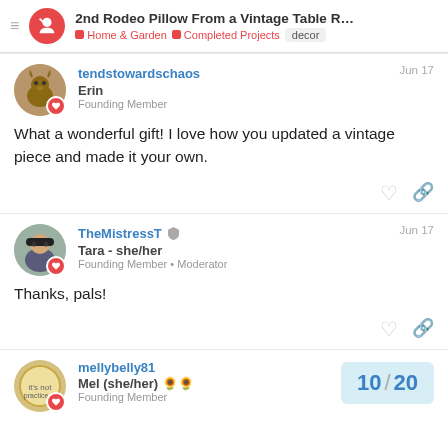2nd Rodeo Pillow From a Vintage Table Ru... | Home & Garden | Completed Projects | decor
tendstowardschaos Erin Founding Member Jun 17
What a wonderful gift! I love how you updated a vintage piece and made it your own.
TheMistressT Tara - she/her Founding Member • Moderator Jun 17
Thanks, pals!
mellybelly81 Mel (she/her) 🌻🌻 Founding Member
10 / 20